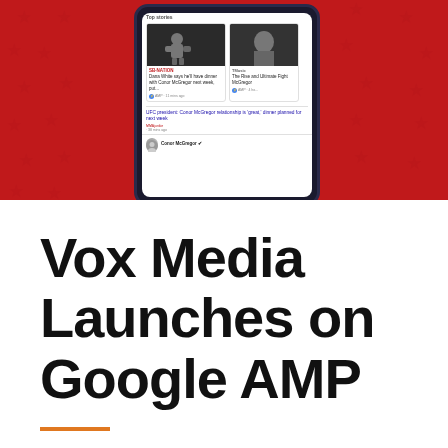[Figure (screenshot): Screenshot of a mobile phone showing Google search results / Top Stories carousel featuring SB Nation and other sports articles about Conor McGregor, with AMP labels, on a red star-patterned background.]
Vox Media Launches on Google AMP
This year, Vox Media launched on Google's Accelerated Mobile Pages (AMP)